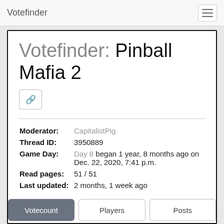Votefinder
Votefinder: Pinball Mafia 2
| Field | Value |
| --- | --- |
| Moderator: | CapitalistPig |
| Thread ID: | 3950889 |
| Game Day: | Day 8 began 1 year, 8 months ago on Dec. 22, 2020, 7:41 p.m. |
| Read pages: | 51 / 51 |
| Last updated: | 2 months, 1 week ago |